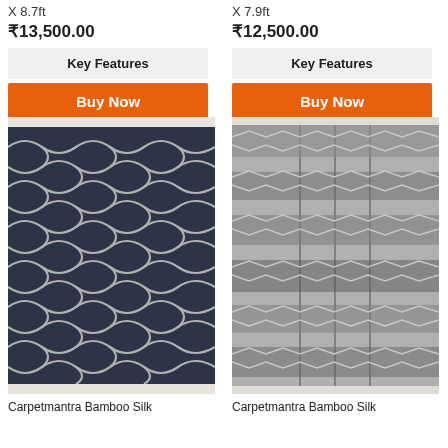X 8.7ft
₹13,500.00
Key Features
Buy Now
X 7.9ft
₹12,500.00
Key Features
Buy Now
[Figure (photo): Dark navy blue rug with white geometric trellis/lattice pattern and fringe border]
[Figure (photo): Light grey rug with dark geometric chevron and stripe pattern and fringe border]
Carpetmantra Bamboo Silk
Carpetmantra Bamboo Silk